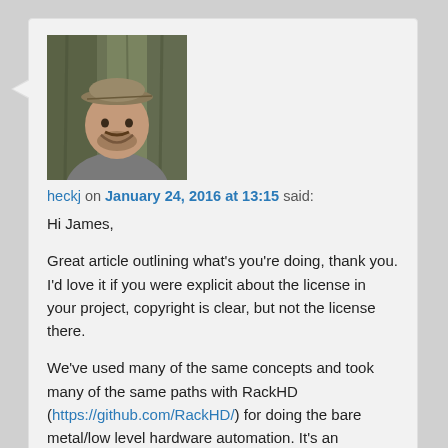[Figure (photo): Avatar photo of user heckj — a man wearing a cap, smiling, with trees in background]
heckj on January 24, 2016 at 13:15 said:
Hi James,

Great article outlining what's you're doing, thank you. I'd love it if you were explicit about the license in your project, copyright is clear, but not the license there.

We've used many of the same concepts and took many of the same paths with RackHD (https://github.com/RackHD/) for doing the bare metal/low level hardware automation. It's an orchestrator and meant to plug into a larger system, but may be on interest. It's also uses a purely event driven workflow engine, although more tightly linked with event sources relevant to